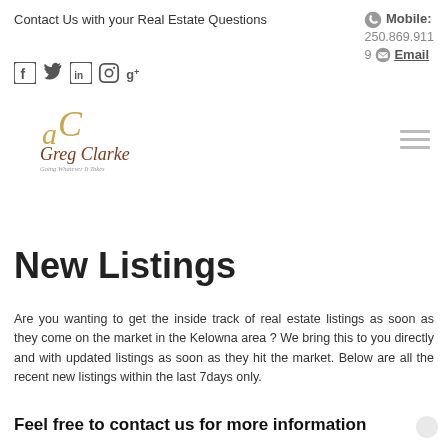Contact Us with your Real Estate Questions
Mobile: 250.869.9119 Email
[Figure (illustration): Social media icons: Facebook, Twitter, LinkedIn, Instagram, Google+]
[Figure (logo): Greg Clarke real estate logo with DC monogram in gold and name in serif font]
New Listings
Are you wanting to get the inside track of real estate listings as soon as they come on the market in the Kelowna area ? We bring this to you directly and with updated listings as soon as they hit the market. Below are all the recent new listings within the last 7days only.
Feel free to contact us for more information